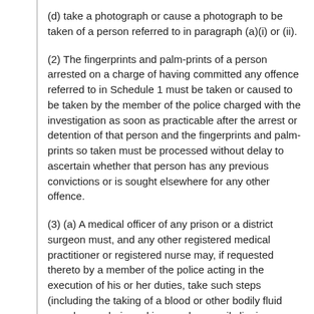(d) take a photograph or cause a photograph to be taken of a person referred to in paragraph (a)(i) or (ii).
(2) The fingerprints and palm-prints of a person arrested on a charge of having committed any offence referred to in Schedule 1 must be taken or caused to be taken by the member of the police charged with the investigation as soon as practicable after the arrest or detention of that person and the fingerprints and palm-prints so taken must be processed without delay to ascertain whether that person has any previous convictions or is sought elsewhere for any other offence.
(3) (a) A medical officer of any prison or a district surgeon must, and any other registered medical practitioner or registered nurse may, if requested thereto by a member of the police acting in the execution of his or her duties, take such steps (including the taking of a blood or other bodily fluid sample, or a hair or skin sample, or nail clippings or scrapings) as may be considered necessary to